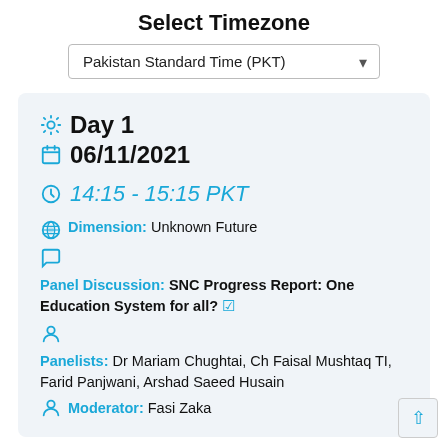Select Timezone
Pakistan Standard Time (PKT)
Day 1  06/11/2021
14:15 - 15:15 PKT
Dimension: Unknown Future
Panel Discussion: SNC Progress Report: One Education System for all?
Panelists: Dr Mariam Chughtai, Ch Faisal Mushtaq TI, Farid Panjwani, Arshad Saeed Husain
Moderator: Fasi Zaka